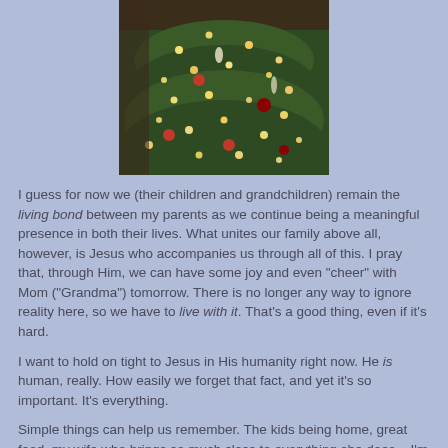[Figure (photo): A decorated Christmas tree with lights and ornaments, photographed close-up.]
I guess for now we (their children and grandchildren) remain the living bond between my parents as we continue being a meaningful presence in both their lives. What unites our family above all, however, is Jesus who accompanies us through all of this. I pray that, through Him, we can have some joy and even "cheer" with Mom ("Grandma") tomorrow. There is no longer any way to ignore reality here, so we have to live with it. That's a good thing, even if it's hard.
I want to hold on tight to Jesus in His humanity right now. He is human, really. How easily we forget that fact, and yet it's so important. It's everything.
Simple things can help us remember. The kids being home, great food, my wife who brings so much class to everything she does... I'm thankful for these very concrete human...